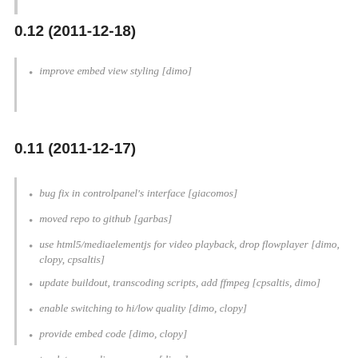0.12 (2011-12-18)
improve embed view styling [dimo]
0.11 (2011-12-17)
bug fix in controlpanel's interface [giacomos]
moved repo to github [garbas]
use html5/mediaelementjs for video playback, drop flowplayer [dimo, clopy, cpsaltis]
update buildout, transcoding scripts, add ffmpeg [cpsaltis, dimo]
enable switching to hi/low quality [dimo, clopy]
provide embed code [dimo, clopy]
track transcoding progress [dimo]
support opensubtitles [dimo, clopy]